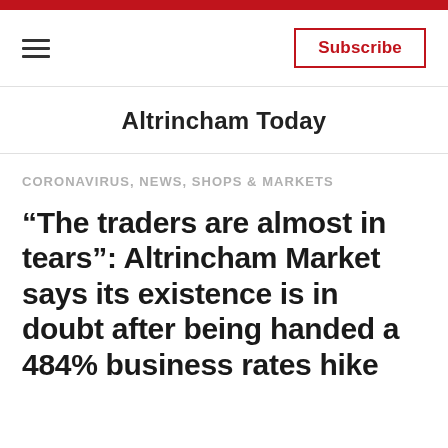Altrincham Today
CORONAVIRUS, NEWS, SHOPS & MARKETS
“The traders are almost in tears”: Altrincham Market says its existence is in doubt after being handed a 484% business rates hike